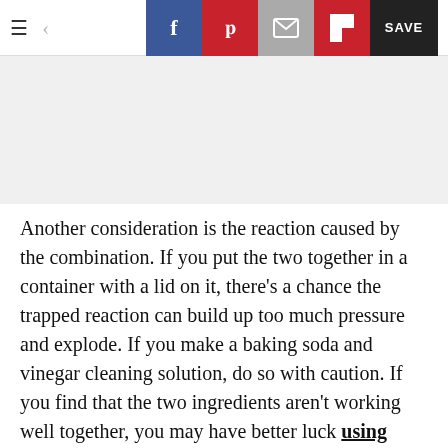Navigation toolbar with hamburger menu, back arrow, Facebook, Pinterest, Email, Flipboard share buttons, and SAVE button
[Figure (other): Gray advertisement placeholder area]
Another consideration is the reaction caused by the combination. If you put the two together in a container with a lid on it, there's a chance the trapped reaction can build up too much pressure and explode. If you make a baking soda and vinegar cleaning solution, do so with caution. If you find that the two ingredients aren't working well together, you may have better luck using them individually